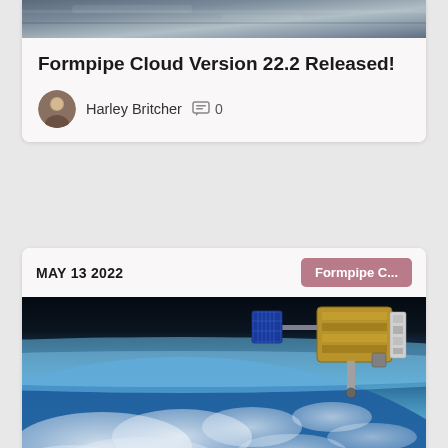[Figure (photo): Partial view of Earth from orbit with clouds, top portion of first card]
Formpipe Cloud Version 22.2 Released!
Harley Britcher   0
MAY 13 2022
Formpipe C...
[Figure (photo): Satellite in orbit above Earth, view from space showing clouds and Earth's curvature with a spacecraft in the upper right]